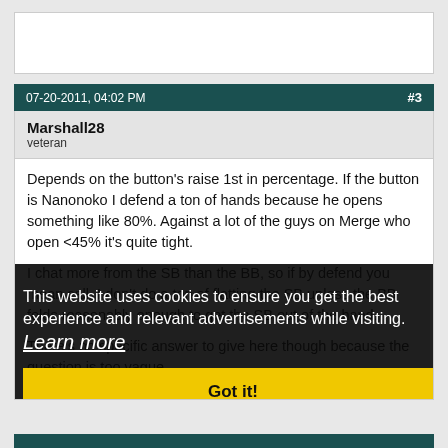07-20-2011, 04:02 PM  #3
Marshall28
veteren
Depends on the button's raise 1st in percentage. If the button is Nanonoko I defend a ton of hands because he opens something like 80%. Against a lot of the guys on Merge who open <45% it's quite tight.

I chat more from the SB than the BB, so if by defend you mean call, I don't do a ton of flatting the SB unless the BB folds reasonably enough to get the SB out of the hand.

There's no specific answer to give here though because the question is too vague.
This website uses cookies to ensure you get the best experience and relevant advertisements while visiting.  Learn more
Got it!